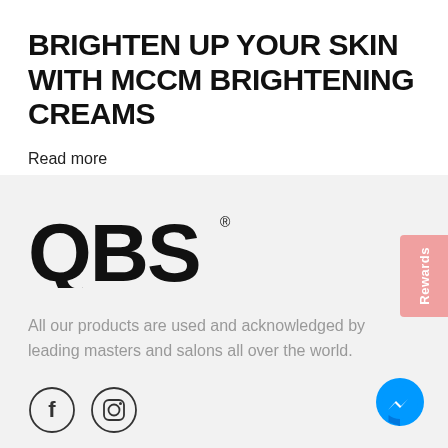BRIGHTEN UP YOUR SKIN WITH MCCM BRIGHTENING CREAMS
Read more
[Figure (logo): QBS logo in bold black lettering with registered trademark symbol]
All our products are used and acknowledged by leading masters and salons all over the world.
[Figure (illustration): Facebook and Instagram social media circle icons]
[Figure (other): Pink Rewards vertical tab on right side]
[Figure (other): Blue Facebook Messenger chat button at bottom right]